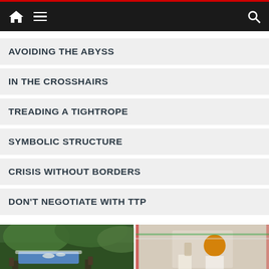Navigation bar with home, menu, and search icons
AVOIDING THE ABYSS
IN THE CROSSHAIRS
TREADING A TIGHTROPE
SYMBOLIC STRUCTURE
CRISIS WITHOUT BORDERS
DON'T NEGOTIATE WITH TTP
[Figure (photo): Outdoor scene with people in military/formal dress near a casket with flowers and blue covering, surrounded by green trees]
[Figure (photo): Indoor scene with people in traditional South Asian attire, man with orange turban, decorative garlands visible]